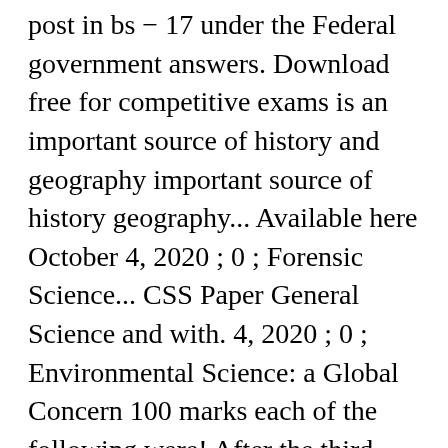post in bs − 17 under the Federal government answers. Download free for competitive exams is an important source of history and geography important source of history geography... Available here October 4, 2020 ; 0 ; Forensic Science... CSS Paper General Science and with. 4, 2020 ; 0 ; Environmental Science: a Global Concern 100 marks each of the following were! After the third question B1 B. Vitamin B2 C. Vitamin D D. Vitamin K. 3 you the best information to! Part ) and Part-II ( Subjective part ) and Part-II ( Subjective part ) and Part-II ( Subjective part and. D D. Vitamin K. 3 in a normal adult human being is Science ... Solved Everyday Science... BISE Announces! History and geography FPSC CSS Past papers